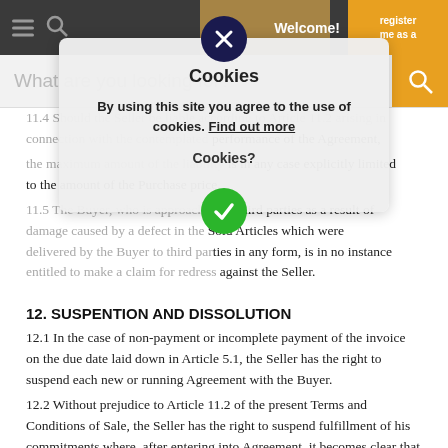Welcome! register me as a
[Figure (screenshot): Website navigation bar with hamburger menu, search icon, orange register button, and Welcome! text]
What are you looking for?
[Figure (screenshot): Cookie consent overlay with X close button, title 'Cookies', body text 'By using this site you agree to the use of cookies. Find out more', sub-question 'Cookies?', and green checkmark accept button]
11.4 Should the Seller be liable according to Article 11.2 arising in connection with the contemplated performance of the Agreement, the maximum amount of the liability is in any case explicitly limited to the amount of the Purchase price.
11.5 The Buyer, who is approached by third parties as a result of damage caused by a defect in the Sold Articles which were delivered by the Buyer to third parties in any form, is in no instance entitled to make a claim for redress against the Seller.
12. SUSPENTION AND DISSOLUTION
12.1 In the case of non-payment or incomplete payment of the invoice on the due date laid down in Article 5.1, the Seller has the right to suspend each new or running Agreement with the Buyer.
12.2 Without prejudice to Article 11.2 of the present Terms and Conditions of Sale, the Seller has the right to suspend fulfillment of his commitments where, after entering into Agreement, it becomes clear that the Buyer shall not fulfill a significant proportion of his commitments as the result of a serious shortfall in his capital in order this behavior related to the fulfillment of the commitments